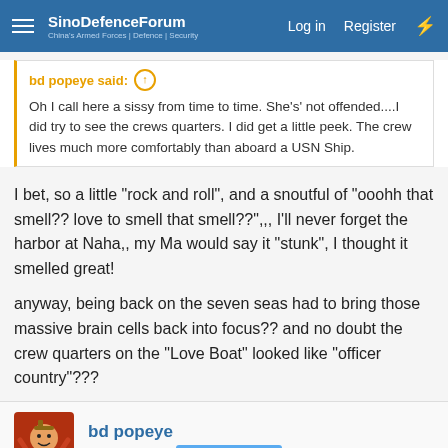SinoDefenceForum | Log in | Register
bd popeye said: ↑
Oh I call here a sissy from time to time. She's' not offended....I did try to see the crews quarters. I did get a little peek. The crew lives much more comfortably than aboard a USN Ship.
I bet, so a little "rock and roll", and a snoutful of "ooohh that smell?? love to smell that smell??",,, I'll never forget the harbor at Naha,, my Ma would say it "stunk", I thought it smelled great!
anyway, being back on the seven seas had to bring those massive brain cells back into focus?? and no doubt the crew quarters on the "Love Boat" looked like "officer country"???
bd popeye
The Last Jedi   VIP Professional